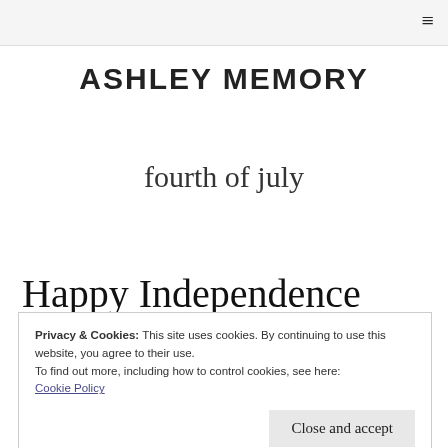≡
ASHLEY MEMORY
fourth of july
Happy Independence Day –
Privacy & Cookies: This site uses cookies. By continuing to use this website, you agree to their use.
To find out more, including how to control cookies, see here: Cookie Policy
Close and accept